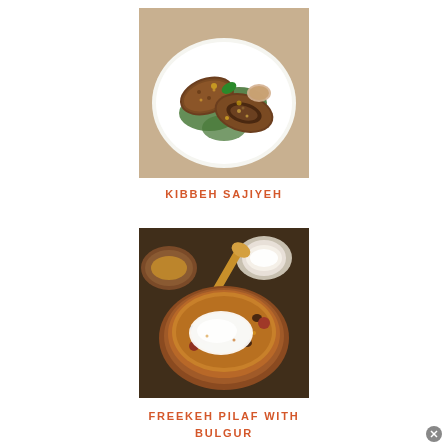[Figure (photo): A white plate with kibbeh sajiyeh - stuffed oval-shaped Lebanese meat patties cut open to reveal filling, served on green leaves with herbs and sauce]
KIBBEH SAJIYEH
[Figure (photo): A clay bowl filled with freekeh pilaf with bulgur, topped with white yogurt/sauce and mixed with beans, surrounded by additional dishes]
FREEKEH PILAF WITH BULGUR